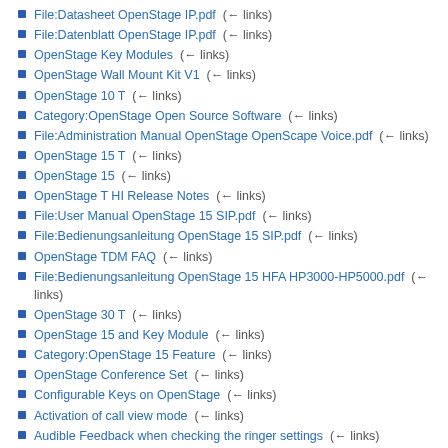File:Datasheet OpenStage IP.pdf  (← links)
File:Datenblatt OpenStage IP.pdf  (← links)
OpenStage Key Modules  (← links)
OpenStage Wall Mount Kit V1  (← links)
OpenStage 10 T  (← links)
Category:OpenStage Open Source Software  (← links)
File:Administration Manual OpenStage OpenScape Voice.pdf  (← links)
OpenStage 15 T  (← links)
OpenStage 15  (← links)
OpenStage T HI Release Notes  (← links)
File:User Manual OpenStage 15 SIP.pdf  (← links)
File:Bedienungsanleitung OpenStage 15 SIP.pdf  (← links)
OpenStage TDM FAQ  (← links)
File:Bedienungsanleitung OpenStage 15 HFA HP3000-HP5000.pdf  (← links)
OpenStage 30 T  (← links)
OpenStage 15 and Key Module  (← links)
Category:OpenStage 15 Feature  (← links)
OpenStage Conference Set  (← links)
Configurable Keys on OpenStage  (← links)
Activation of call view mode  (← links)
Audible Feedback when checking the ringer settings  (← links)
Automatic pop-up of Context Menu during a call  (← links)
Mobility Log-in/-out Improvements  (← links)